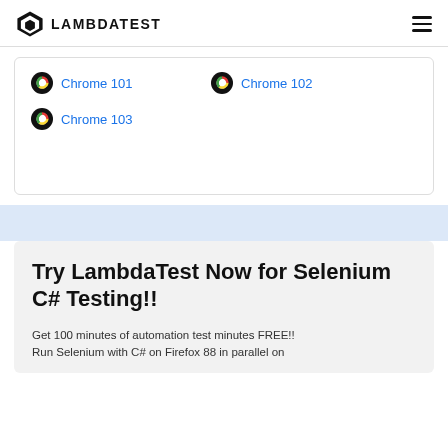LAMBDATEST
Chrome 101
Chrome 102
Chrome 103
Try LambdaTest Now for Selenium C# Testing!!
Get 100 minutes of automation test minutes FREE!! Run Selenium with C# on Firefox 88 in parallel on